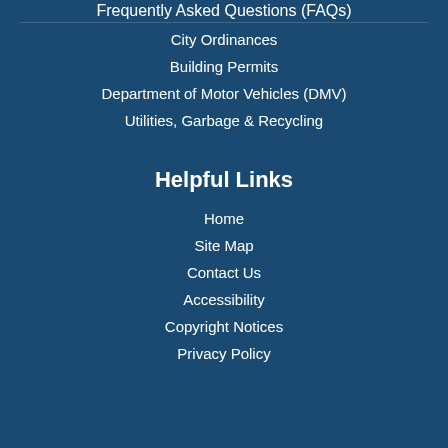Frequently Asked Questions (FAQs)
City Ordinances
Building Permits
Department of Motor Vehicles (DMV)
Utilities, Garbage & Recycling
Helpful Links
Home
Site Map
Contact Us
Accessibility
Copyright Notices
Privacy Policy